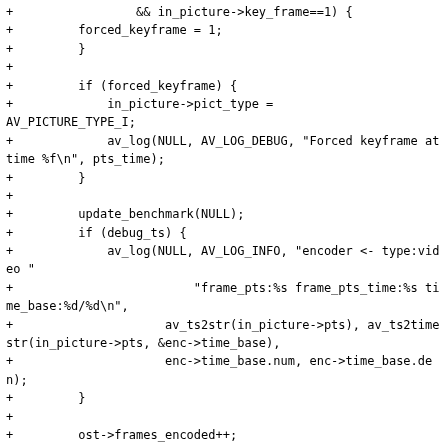+ && in_picture->key_frame==1) {
+        forced_keyframe = 1;
+        }
+
+        if (forced_keyframe) {
+            in_picture->pict_type =
AV_PICTURE_TYPE_I;
+            av_log(NULL, AV_LOG_DEBUG, "Forced keyframe at time %f\n", pts_time);
+        }
+
+        update_benchmark(NULL);
+        if (debug_ts) {
+            av_log(NULL, AV_LOG_INFO, "encoder <- type:video "
+                        "frame_pts:%s frame_pts_time:%s time_base:%d/%d\n",
+                    av_ts2str(in_picture->pts), av_ts2timestr(in_picture->pts, &enc->time_base),
+                    enc->time_base.num, enc->time_base.den);
+        }
+
+        ost->frames_encoded++;
+
+        ret = avcodec_send_frame(enc, in_picture);
+        if (ret < 0)
+            goto error;
+
+        while (1) {